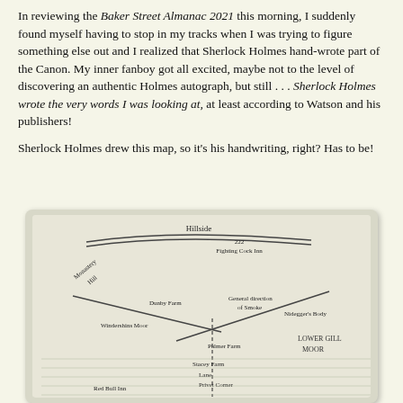In reviewing the Baker Street Almanac 2021 this morning, I suddenly found myself having to stop in my tracks when I was trying to figure something else out and I realized that Sherlock Holmes hand-wrote part of the Canon. My inner fanboy got all excited, maybe not to the level of discovering an authentic Holmes autograph, but still . . . Sherlock Holmes wrote the very words I was looking at, at least according to Watson and his publishers!
Sherlock Holmes drew this map, so it's his handwriting, right? Has to be!
[Figure (illustration): A hand-drawn map in cursive/script handwriting showing locations including: Hillside, Fighting Cock Inn, Monastery Hill, Dunby Farm, Copper Beeches, Windershins Moor, Lower Gill Moor, Palmer Farm, Stacey Farm, Lane, Privet Corner, Red Bull Inn, and other labels. Lines represent roads or paths crossing through the map.]